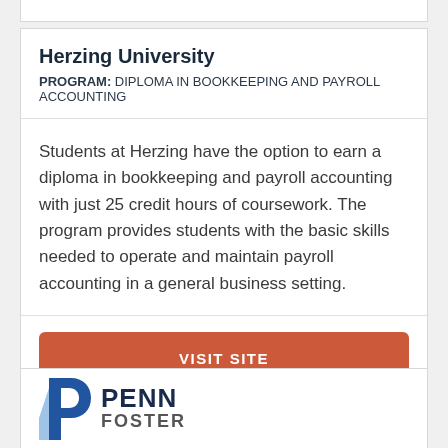Herzing University
PROGRAM: DIPLOMA IN BOOKKEEPING AND PAYROLL ACCOUNTING
Students at Herzing have the option to earn a diploma in bookkeeping and payroll accounting with just 25 credit hours of coursework. The program provides students with the basic skills needed to operate and maintain payroll accounting in a general business setting.
VISIT SITE
[Figure (logo): Penn Foster university logo with stylized blue letter P icon and PENN text]